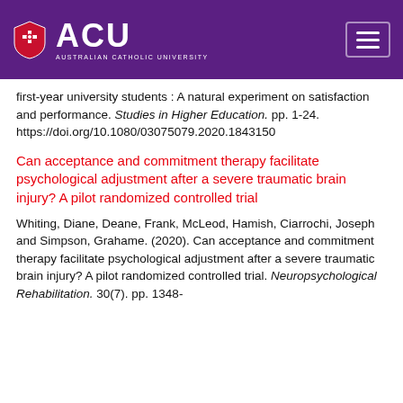[Figure (logo): ACU (Australian Catholic University) logo with shield icon on purple background header, with hamburger menu button on right]
first-year university students : A natural experiment on satisfaction and performance. Studies in Higher Education. pp. 1-24. https://doi.org/10.1080/03075079.2020.1843150
Can acceptance and commitment therapy facilitate psychological adjustment after a severe traumatic brain injury? A pilot randomized controlled trial
Whiting, Diane, Deane, Frank, McLeod, Hamish, Ciarrochi, Joseph and Simpson, Grahame. (2020). Can acceptance and commitment therapy facilitate psychological adjustment after a severe traumatic brain injury? A pilot randomized controlled trial. Neuropsychological Rehabilitation. 30(7). pp. 1348-